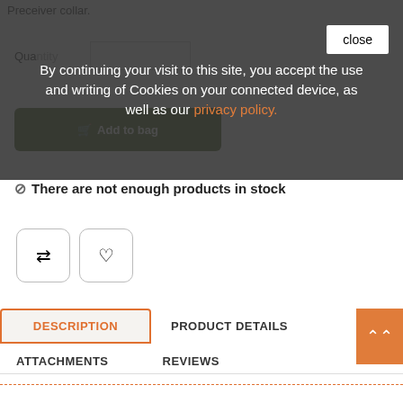Preceiver collar.
Quantity
[Figure (screenshot): Green 'Add to bag' button with shopping cart icon]
There are not enough products in stock
By continuing your visit to this site, you accept the use and writing of Cookies on your connected device, as well as our privacy policy.
close
[Figure (screenshot): Two icon buttons: compare (arrows) and wishlist (heart)]
DESCRIPTION
PRODUCT DETAILS
ATTACHMENTS
REVIEWS